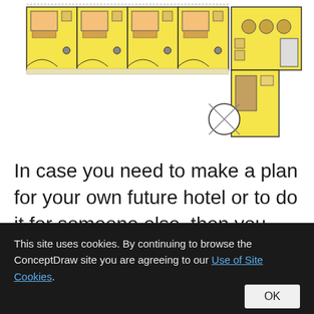[Figure (schematic): Hotel floor plan showing multiple guest rooms with beds and furniture in yellow, and a common area/reception zone. The plan shows a row of rooms on the left and a lobby/service area on the right.]
In case you need to make a plan for your own future hotel or to do it for someone else, then you can always find the way to make such template very quickly and to have a very good looking result in the end. Whichever type of the hotels you want to
This site uses cookies. By continuing to browse the ConceptDraw site you are agreeing to our Use of Site Cookies.
OK